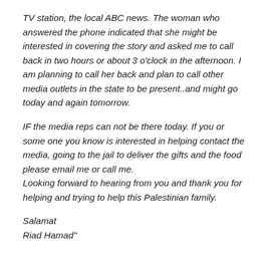TV station, the local ABC news. The woman who answered the phone indicated that she might be interested in covering the story and asked me to call back in two hours or about 3 o'clock in the afternoon. I am planning to call her back and plan to call other media outlets in the state to be present..and might go today and again tomorrow.
IF the media reps can not be there today. If you or some one you know is interested in helping contact the media, going to the jail to deliver the gifts and the food please email me or call me. Looking forward to hearing from you and thank you for helping and trying to help this Palestinian family.
Salamat
Riad Hamad"